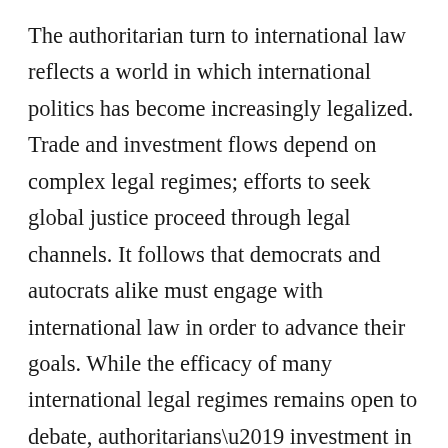The authoritarian turn to international law reflects a world in which international politics has become increasingly legalized. Trade and investment flows depend on complex legal regimes; efforts to seek global justice proceed through legal channels. It follows that democrats and autocrats alike must engage with international law in order to advance their goals. While the efficacy of many international legal regimes remains open to debate, authoritarians' investment in this area suggests that they believe there are significant benefits to be gained from winning the imprimatur of